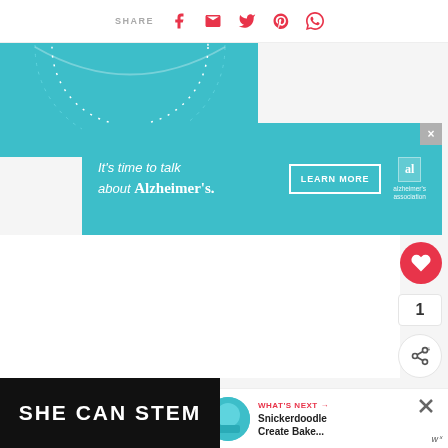SHARE
[Figure (illustration): Teal background illustration with dotted circular clock-like decoration]
[Figure (infographic): Alzheimer's Association advertisement banner: "It's time to talk about Alzheimer's." with a LEARN MORE button and Alzheimer's association logo]
[Figure (infographic): SHE CAN STEM dark banner with bold white text]
WHAT'S NEXT → Snickerdoodle Create Bake...
1